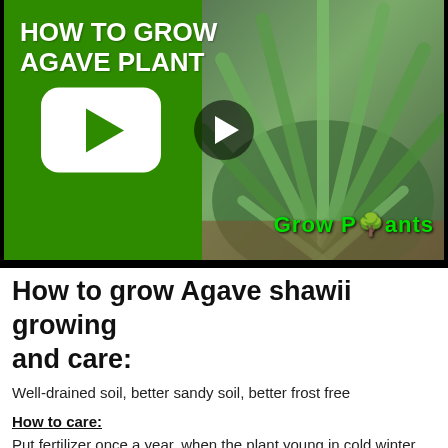[Figure (screenshot): YouTube-style video thumbnail showing 'HOW TO GROW AGAVE PLANT' text on green background with YouTube play button icon on left, and photo of agave plants on right, with 'Grow Plants' branding and play button overlay in center]
How to grow Agave shawii growing and care:
Well-drained soil, better sandy soil, better frost free
How to care:
Put fertilizer once a year, when the plant young in cold winter better to add mulch